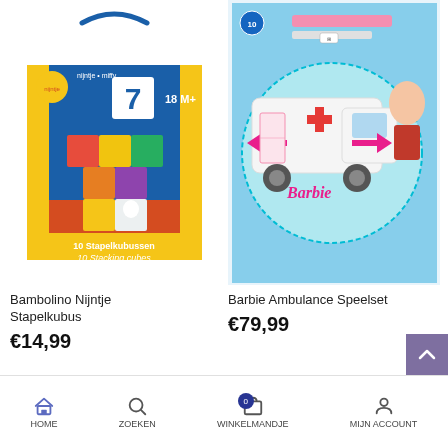[Figure (photo): Bambolino Nijntje Stapelkubus product box - orange/blue/yellow box with 10 stacking cubes, 18M+, labeled '7' and '10 Stapelkubussen / 10 Stacking cubes']
[Figure (photo): Barbie Ambulance Speelset product box - white ambulance toy with pink Barbie branding, girl shown with toy]
Bambolino Nijntje Stapelkubus
€14,99
Barbie Ambulance Speelset
€79,99
[Figure (photo): Partial bottom product image - colorful toy with blue and yellow colors]
[Figure (photo): Partial bottom product image - pink toy close-up]
HOME | ZOEKEN | WINKELMANDJE | MIJN ACCOUNT